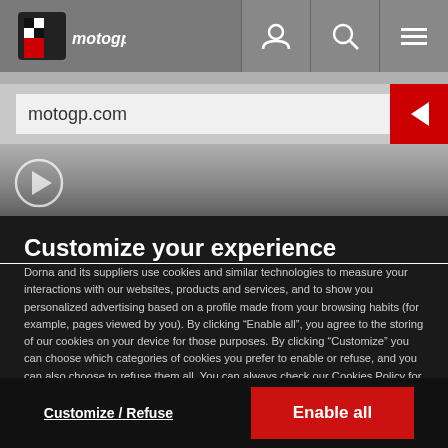[Figure (screenshot): MotoGP website navigation bar with logo, user icon, search icon, and menu icon]
motogp.com
Customize your experience
Dorna and its suppliers use cookies and similar technologies to measure your interactions with our websites, products and services, and to show you personalized advertising based on a profile made from your browsing habits (for example, pages viewed by you). By clicking “Enable all”, you agree to the storing of our cookies on your device for those purposes. By clicking “Customize” you can choose which categories of cookies you prefer to enable or refuse, and you can also choose to refuse them all. You can always check our Cookies Policy for further information. Cookie Policy
Customize / Refuse
Enable all